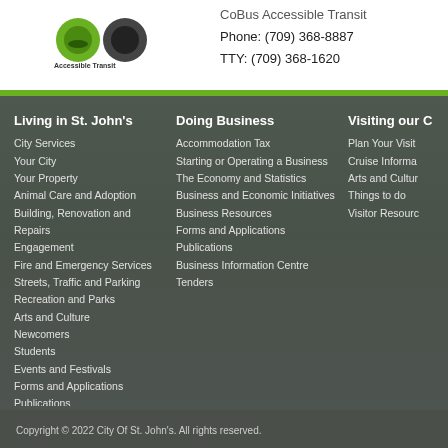CoBus Accessible Transit
Phone: (709) 368-8887
TTY: (709) 368-1620
Living in St. John's
City Services
Your City
Your Property
Animal Care and Adoption
Building, Renovation and Repairs
Engagement
Fire and Emergency Services
Streets, Traffic and Parking
Recreation and Parks
Arts and Culture
Newcomers
Students
Events and Festivals
Forms and Applications
Publications
Housing
Parks, Playgrounds and Trails
Doing Business
Accommodation Tax
Starting or Operating a Business
The Economy and Statistics
Business and Economic Initiatives
Business Resources
Forms and Applications
Publications
Business Information Centre
Tenders
Visiting our C
Plan Your Visit
Cruise Informa
Arts and Cultur
Things to do
Visitor Resourc
Copyright © 2022 City Of St. John's. All rights reserved.